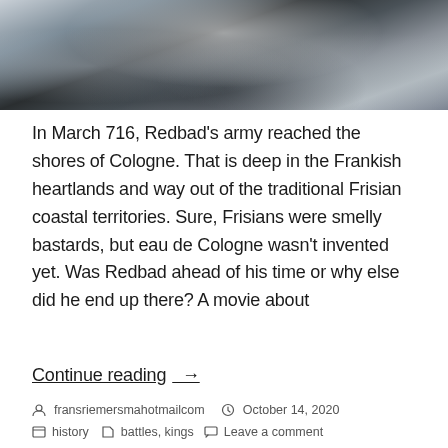[Figure (photo): Dark dramatic photo showing a silhouetted figure against a rocky or watery background with white and grey tones]
In March 716, Redbad's army reached the shores of Cologne. That is deep in the Frankish heartlands and way out of the traditional Frisian coastal territories. Sure, Frisians were smelly bastards, but eau de Cologne wasn't invented yet. Was Redbad ahead of his time or why else did he end up there? A movie about
Continue reading  →
fransriemersmahotmailcom   October 14, 2020   history   battles, kings   Leave a comment